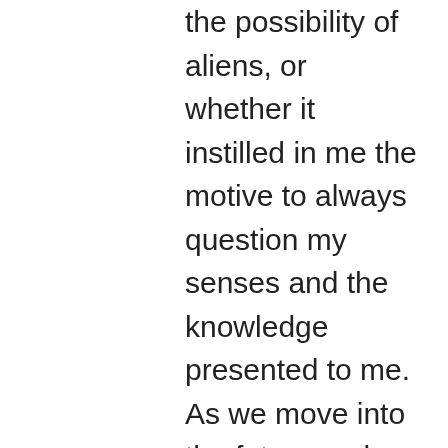the possibility of aliens, or whether it instilled in me the motive to always question my senses and the knowledge presented to me. As we move into the future and our technological capabilities improve exponentially, I often wonder when we will truly know and understand the nature of this universe or even dimension we inhabit. I believe though without a doubt that we are not alone, you don't need an equation (Drake) to know that the probability of life thriving in such an enormous expanse is greater than ourselves. Just the other day there was an article in the national geographic that explained the existence of a blackhole in space that was engulfing water. First of all, what the hell is water doing in space? And second of all, the amount of water it was taking in was equal to 140 trillion